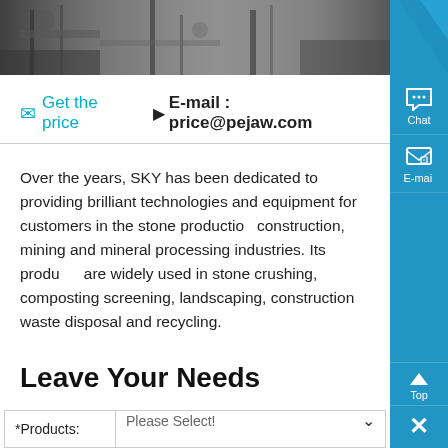[Figure (photo): Industrial equipment/machinery photo strip at top of page]
💬 Get the price  🏷E-mail : price@pejaw.com
Over the years, SKY has been dedicated to providing brilliant technologies and equipment for customers in the stone production, construction, mining and mineral processing industries. Its products are widely used in stone crushing, composting screening, landscaping, construction waste disposal and recycling.
Leave Your Needs
If you can not chat online or send an e-mail at the moment, you can fill out the following form, leaving your contact information, we will contact you as soon as possible to meet any of your requirements.
| *Products: | Please Select! |
| --- | --- |